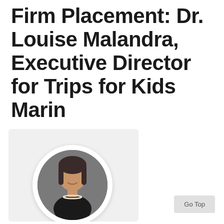Firm Placement: Dr. Louise Malandra, Executive Director for Trips for Kids Marin
[Figure (photo): A card with a circular portrait photo of Dr. Louise Malandra, a woman with dark hair wearing a dark top and pearl necklace, on a light gray background.]